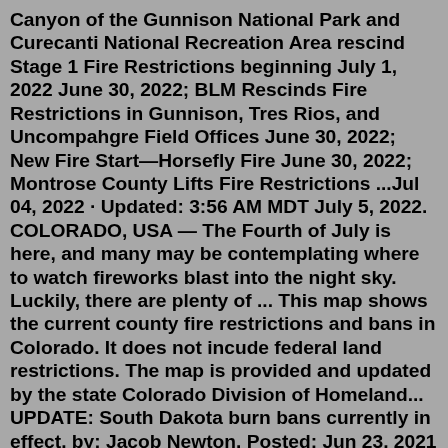Canyon of the Gunnison National Park and Curecanti National Recreation Area rescind Stage 1 Fire Restrictions beginning July 1, 2022 June 30, 2022; BLM Rescinds Fire Restrictions in Gunnison, Tres Rios, and Uncompahgre Field Offices June 30, 2022; New Fire Start—Horsefly Fire June 30, 2022; Montrose County Lifts Fire Restrictions ...Jul 04, 2022 · Updated: 3:56 AM MDT July 5, 2022. COLORADO, USA — The Fourth of July is here, and many may be contemplating where to watch fireworks blast into the night sky. Luckily, there are plenty of ... This map shows the current county fire restrictions and bans in Colorado. It does not incude federal land restrictions. The map is provided and updated by the state Colorado Division of Homeland... UPDATE: South Dakota burn bans currently in effect. by: Jacob Newton. Posted: Jun 23, 2021 / 05:57 PM CDT. Updated: Jul 14, 2021 / 05:18 PM CDT. SIOUX FALLS, S.D. (KELO) — The number of South ...Fire District 3 Provides fire and life safety services to 40,000 people in east Clark...